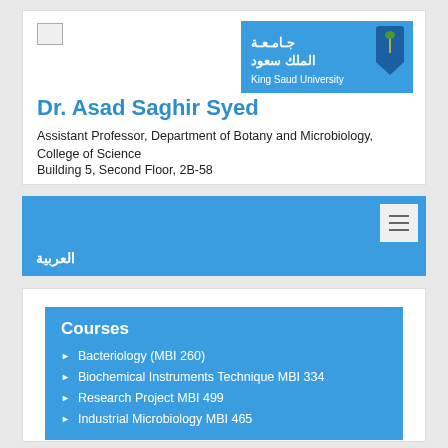[Figure (logo): Small placeholder image icon top left]
[Figure (logo): King Saud University logo with Arabic text and shield emblem, blue background]
Dr. Asad Saghir Syed
Assistant Professor, Department of Botany and Microbiology, College of Science
Building 5, Second Floor, 2B-58
العربية
Courses
Bacteriology (MBI 260)
Biochemical Instruments Technique MBI 334
Research Project MBI 499
Industrial Microbiology MBI 465